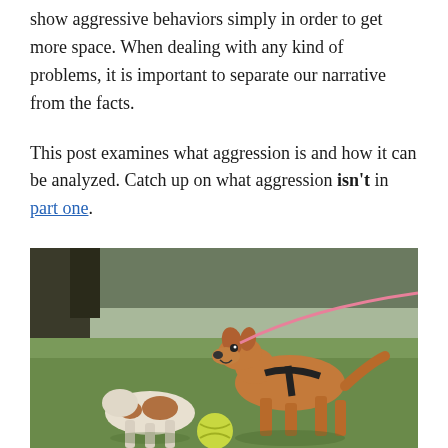show aggressive behaviors simply in order to get more space. When dealing with any kind of problems, it is important to separate our narrative from the facts.

This post examines what aggression is and how it can be analyzed. Catch up on what aggression isn't in part one.
[Figure (photo): Two dogs in a park setting. A brown/tan dog wearing a black harness and pink leash is standing and facing toward the left, showing teeth or open mouth. A smaller white and brown dog is in the foreground/left side. A yellow-green tennis ball is visible near the ground. Background shows green grass and trees.]